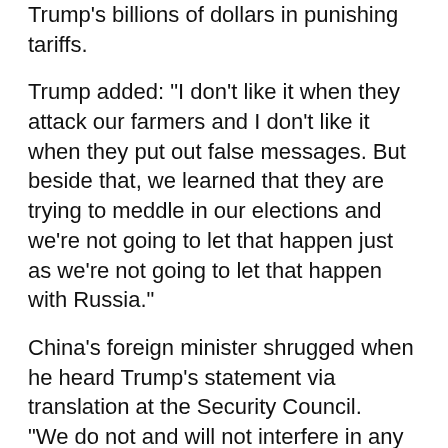Trump's billions of dollars in punishing tariffs.
Trump added: "I don't like it when they attack our farmers and I don't like it when they put out false messages. But beside that, we learned that they are trying to meddle in our elections and we're not going to let that happen just as we're not going to let that happen with Russia."
China's foreign minister shrugged when he heard Trump's statement via translation at the Security Council.
"We do not and will not interfere in any countries' domestic affairs," said Foreign Minister Wang Yi. "We refuse to accept any unwarranted accusations against China, and we call on other countries to also observe the purposes of the U.N. charter and not interfere in other countries' internal affairs."